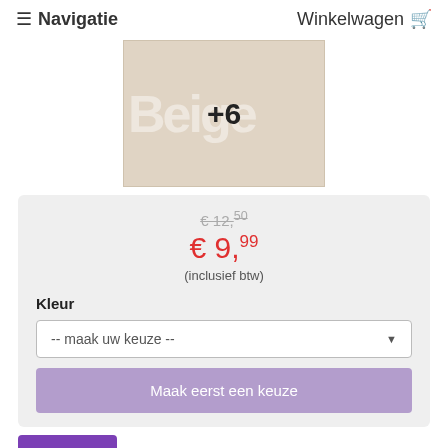≡ Navigatie   Winkelwagen 🛒
[Figure (photo): Product image showing a beige colored item with '+6' overlay text and 'Beige' watermark]
€ 12,50 (struck through original price)
€ 9,99
(inclusief btw)
Kleur
-- maak uw keuze --
Maak eerst een keuze
Overzicht